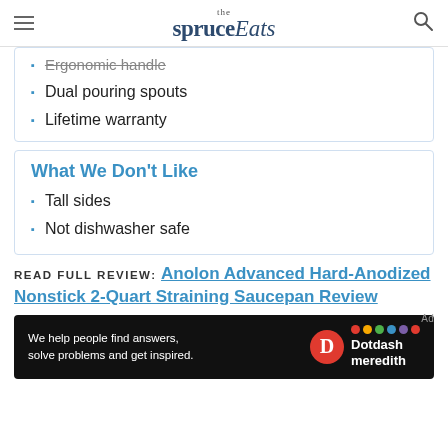the spruce Eats
Ergonomic handle
Dual pouring spouts
Lifetime warranty
What We Don't Like
Tall sides
Not dishwasher safe
READ FULL REVIEW: Anolon Advanced Hard-Anodized Nonstick 2-Quart Straining Saucepan Review
[Figure (other): Dotdash Meredith advertisement banner: 'We help people find answers, solve problems and get inspired.']